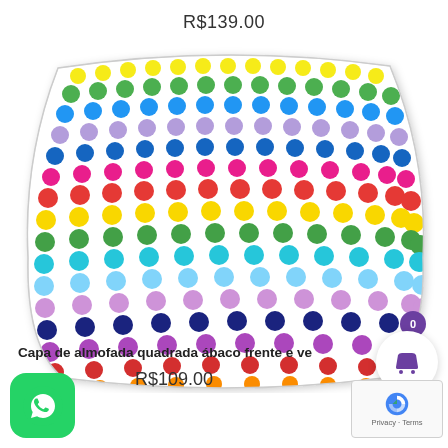R$139.00
[Figure (photo): Square decorative cushion with colorful polka dot pattern in rainbow colors (yellow, green, blue, purple, red, orange) arranged in rows on white background]
Capa de almofada quadrada ábaco frente e ve
R$109.00
[Figure (other): Shopping cart icon button with purple badge showing 0]
[Figure (other): WhatsApp icon button (green rounded square with phone icon)]
[Figure (other): Google reCAPTCHA badge showing Privacy and Terms links]